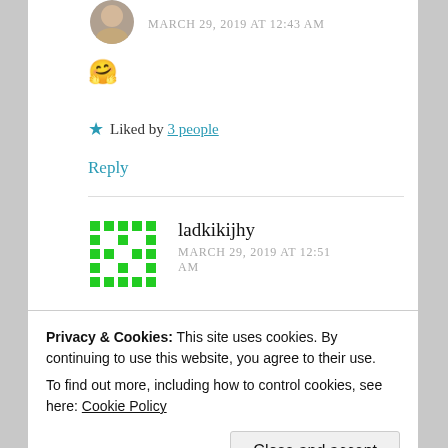MARCH 29, 2019 AT 12:43 AM
🤗
★ Liked by 3 people
Reply
ladkikijhy
MARCH 29, 2019 AT 12:51 AM
Privacy & Cookies: This site uses cookies. By continuing to use this website, you agree to their use.
To find out more, including how to control cookies, see here: Cookie Policy
Close and accept
time